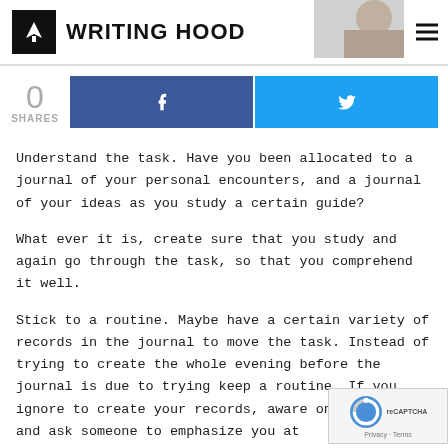WRITING HOOD
[Figure (infographic): Social share bar with 0 shares count, Facebook share button (dark blue with f icon), Twitter share button (cyan with bird icon)]
Understand the task. Have you been allocated to a journal of your personal encounters, and a journal of your ideas as you study a certain guide?
What ever it is, create sure that you study and again go through the task, so that you comprehend it well.
Stick to a routine. Maybe have a certain variety of records in the journal to move the task. Instead of trying to create the whole evening before the journal is due to trying keep a routine. If you ignore to create your records, aware on the Useful, and ask someone to emphasize you at